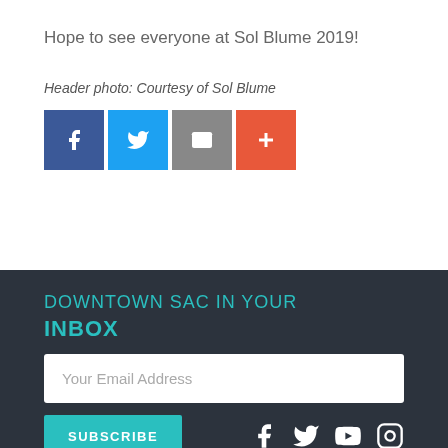Hope to see everyone at Sol Blume 2019!
Header photo: Courtesy of Sol Blume
[Figure (infographic): Social share icons: Facebook (blue), Twitter (light blue), Email (grey), More/Plus (orange-red)]
DOWNTOWN SAC IN YOUR INBOX
Your Email Address
SUBSCRIBE
[Figure (infographic): Social media icons at bottom: Facebook, Twitter, YouTube, Instagram]